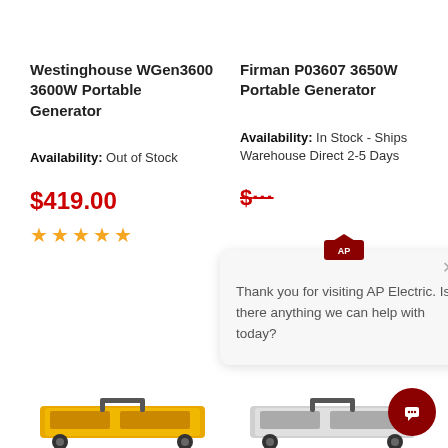Westinghouse WGen3600 3600W Portable Generator
Firman P03607 3650W Portable Generator
Availability: Out of Stock
Availability: In Stock - Ships Warehouse Direct 2-5 Days
$419.00
[Figure (other): Chat popup with close button and message: Thank you for visiting AP Electric. Is there anything we can help with today?]
[Figure (other): Bottom portion of yellow/black Westinghouse portable generator]
[Figure (other): Bottom portion of portable generator on right side]